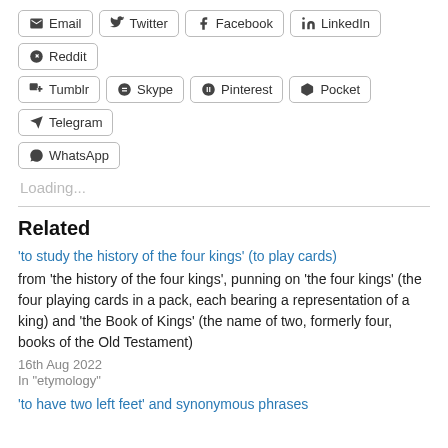[Figure (other): Row of social sharing buttons: Email, Twitter, Facebook, LinkedIn, Reddit]
[Figure (other): Row of social sharing buttons: Tumblr, Skype, Pinterest, Pocket, Telegram]
[Figure (other): Single social sharing button: WhatsApp]
Loading...
Related
'to study the history of the four kings' (to play cards)
from 'the history of the four kings', punning on 'the four kings' (the four playing cards in a pack, each bearing a representation of a king) and 'the Book of Kings' (the name of two, formerly four, books of the Old Testament)
16th Aug 2022
In "etymology"
'to have two left feet' and synonymous phrases